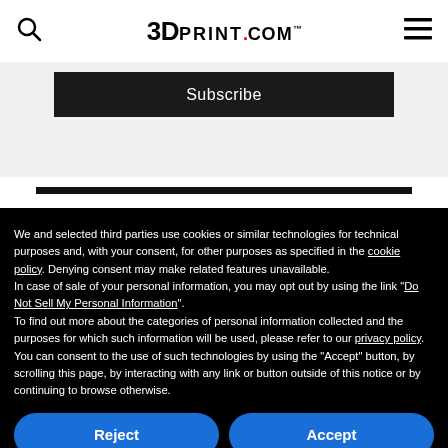3DPRINT.COM
Subscribe
We and selected third parties use cookies or similar technologies for technical purposes and, with your consent, for other purposes as specified in the cookie policy. Denying consent may make related features unavailable.
In case of sale of your personal information, you may opt out by using the link "Do Not Sell My Personal Information".
To find out more about the categories of personal information collected and the purposes for which such information will be used, please refer to our privacy policy. You can consent to the use of such technologies by using the "Accept" button, by scrolling this page, by interacting with any link or button outside of this notice or by continuing to browse otherwise.
Reject
Accept
Learn more and customize